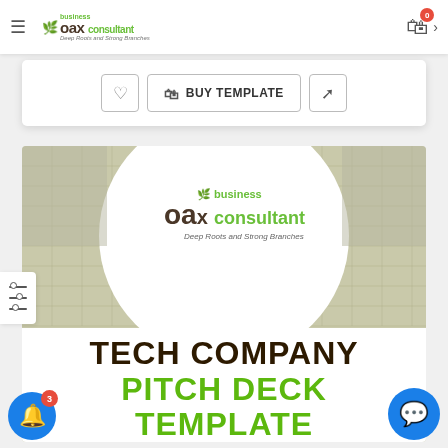Oak Business Consultant — Deep Roots and Strong Branches — navigation header with cart icon
[Figure (screenshot): White card with heart/wishlist button, BUY TEMPLATE button with shopping bag icon, and external link button]
[Figure (screenshot): Tech Company Pitch Deck Template product preview image showing Oak Business Consultant logo in white circle over blueprint/grid paper background with bold text: TECH COMPANY PITCH DECK TEMPLATE]